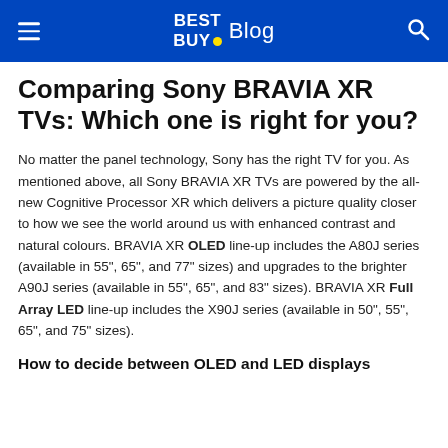Best Buy Blog
Comparing Sony BRAVIA XR TVs: Which one is right for you?
No matter the panel technology, Sony has the right TV for you. As mentioned above, all Sony BRAVIA XR TVs are powered by the all-new Cognitive Processor XR which delivers a picture quality closer to how we see the world around us with enhanced contrast and natural colours. BRAVIA XR OLED line-up includes the A80J series (available in 55", 65", and 77" sizes) and upgrades to the brighter A90J series (available in 55", 65", and 83" sizes). BRAVIA XR Full Array LED line-up includes the X90J series (available in 50", 55", 65", and 75" sizes).
How to decide between OLED and LED displays